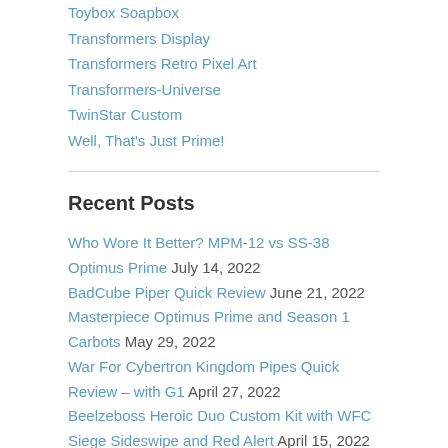Toybox Soapbox
Transformers Display
Transformers Retro Pixel Art
Transformers-Universe
TwinStar Custom
Well, That's Just Prime!
Recent Posts
Who Wore It Better? MPM-12 vs SS-38 Optimus Prime July 14, 2022
BadCube Piper Quick Review June 21, 2022
Masterpiece Optimus Prime and Season 1 Carbots May 29, 2022
War For Cybertron Kingdom Pipes Quick Review – with G1 April 27, 2022
Beelzeboss Heroic Duo Custom Kit with WFC Siege Sideswipe and Red Alert April 15, 2022
View Full Site
Proudly powered by WordPress